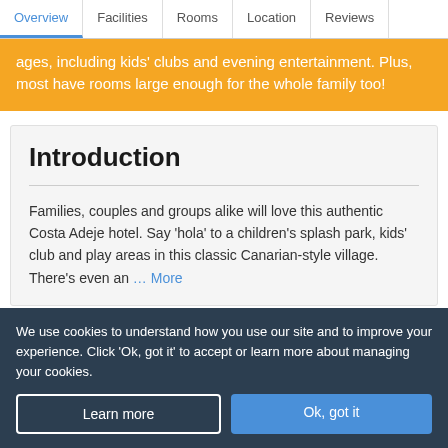Overview | Facilities | Rooms | Location | Reviews
ages, including kids' clubs and evening entertainment. Plus, most have rooms large enough for the whole family too!
Introduction
Families, couples and groups alike will love this authentic Costa Adeje hotel. Say ‘hola’ to a children’s splash park, kids’ club and play areas in this classic Canarian-style village. There’s even an ... More
We use cookies to understand how you use our site and to improve your experience. Click ‘Ok, got it’ to accept or learn more about managing your cookies.
Learn more
Ok, got it